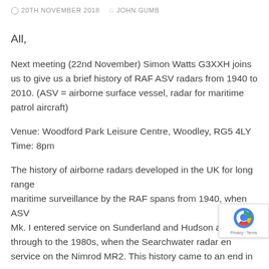20TH NOVEMBER 2018   JOHN GUMB
All,
Next meeting (22nd November) Simon Watts G3XXH joins us to give us a brief history of RAF ASV radars from 1940 to 2010. (ASV = airborne surface vessel, radar for maritime patrol aircraft)
Venue: Woodford Park Leisure Centre, Woodley, RG5 4LY
Time: 8pm
The history of airborne radars developed in the UK for long range maritime surveillance by the RAF spans from 1940, when ASV Mk. I entered service on Sunderland and Hudson aircr through to the 1980s, when the Searchwater radar ent service on the Nimrod MR2. This history came to an end in